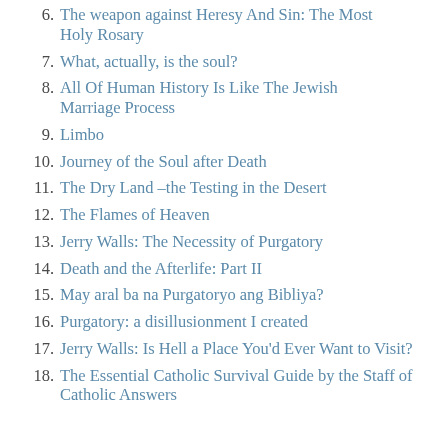6. The weapon against Heresy And Sin: The Most Holy Rosary
7. What, actually, is the soul?
8. All Of Human History Is Like The Jewish Marriage Process
9. Limbo
10. Journey of the Soul after Death
11. The Dry Land –the Testing in the Desert
12. The Flames of Heaven
13. Jerry Walls: The Necessity of Purgatory
14. Death and the Afterlife: Part II
15. May aral ba na Purgatoryo ang Bibliya?
16. Purgatory: a disillusionment I created
17. Jerry Walls: Is Hell a Place You'd Ever Want to Visit?
18. The Essential Catholic Survival Guide by the Staff of Catholic Answers